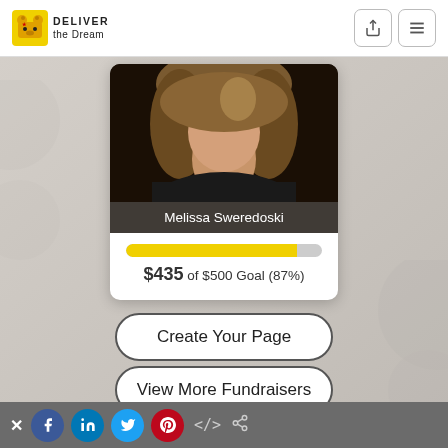[Figure (logo): Deliver the Dream logo with yellow bear mascot icon]
[Figure (photo): Headshot photo of Melissa Sweredoski, woman with blonde/brown hair wearing black]
Melissa Sweredoski
[Figure (infographic): Progress bar showing 87% completion, yellow fill]
$435 of $500 Goal (87%)
Create Your Page
View More Fundraisers
[Figure (infographic): Social sharing footer bar with X close button, Facebook, LinkedIn, Twitter, Pinterest, code embed, and link icons]